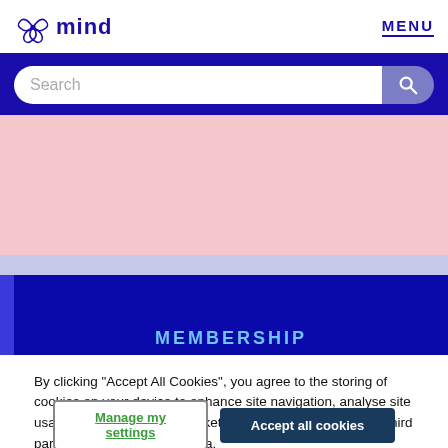mind  MENU
Search
[Figure (illustration): Line drawing of two hands on a pink background, rendered in blue outline style. Appears to show hands reaching or touching each other.]
MEMBERSHIP
By clicking “Accept All Cookies”, you agree to the storing of cookies on your device to enhance site navigation, analyse site usage, and assist in our marketing efforts. This will include third party access to browsing data.
Manage my settings
Accept all cookies